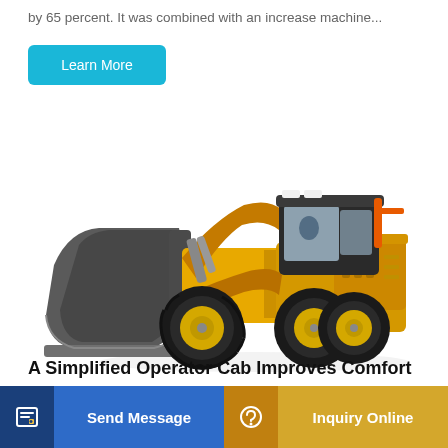by 65 percent. It was combined with an increase machine...
[Figure (other): Learn More button — rounded blue rectangle with white text]
[Figure (photo): Large yellow wheel loader / front-end loader construction machine with a black bucket attachment, photographed on a white background]
A Simplified Operator Cab Improves Comfort
[Figure (other): Bottom action bar with two buttons: 'Send Message' (blue, with document icon on dark blue background) and 'Inquiry Online' (gold/tan, with headset icon on orange-brown background)]